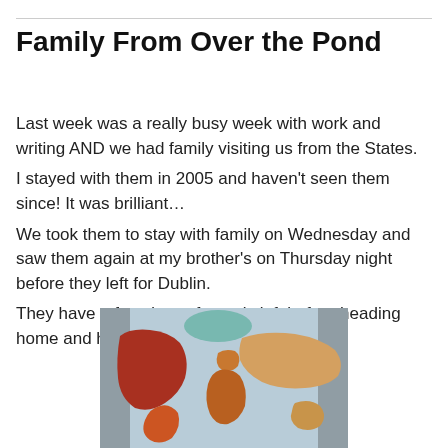Family From Over the Pond
Last week was a really busy week with work and writing AND we had family visiting us from the States.
I stayed with them in 2005 and haven't seen them since! It was brilliant…
We took them to stay with family on Wednesday and saw them again at my brother's on Thursday night before they left for Dublin.
They have a few days of travels left before heading home and have had a great time!
[Figure (photo): A photo of a colorful world map showing continents in shades of red, orange, and tan against a light blue background.]